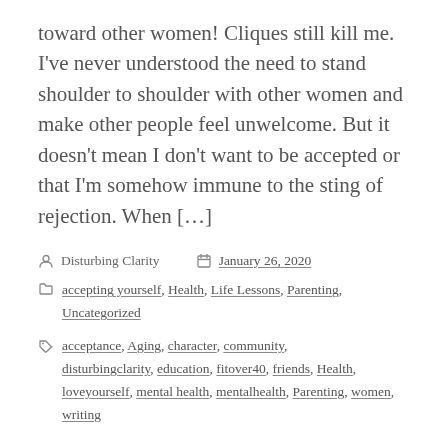toward other women! Cliques still kill me. I've never understood the need to stand shoulder to shoulder with other women and make other people feel unwelcome. But it doesn't mean I don't want to be accepted or that I'm somehow immune to the sting of rejection. When […]
Disturbing Clarity   January 26, 2020
accepting yourself, Health, Life Lessons, Parenting, Uncategorized
acceptance, Aging, character, community, disturbingclarity, education, fitover40, friends, Health, loveyourself, mental health, mentalhealth, Parenting, women, writing